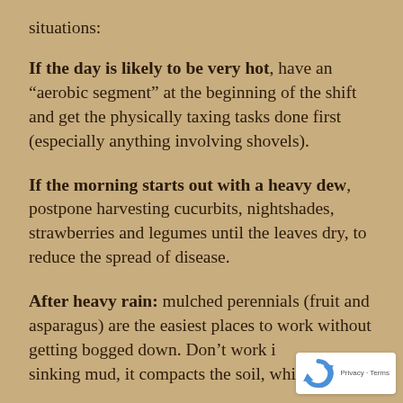situations:
If the day is likely to be very hot, have an “aerobicsegment” at the beginning of the shift and get the physically taxing tasks done first (especially anything involving shovels).
If the morning starts out with a heavy dew, postpone harvesting cucurbits, nightshades, strawberries and legumes until the leaves dry, to reduce the spread of disease.
After heavy rain: mulched perennials (fruit and asparagus) are the easiest places to work without getting bogged down. Don’t work i… sinking mud, it compacts the soil, which me…